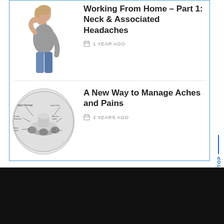[Figure (photo): Woman holding her neck in pain, wearing a grey top and jeans]
Working From Home – Part 1: Neck & Associated Headaches
1 YEAR AGO
[Figure (illustration): Circular diagram showing a massage device (Trigger Massage) with labeled anatomical and product details]
A New Way to Manage Aches and Pains
2 YEARS AGO